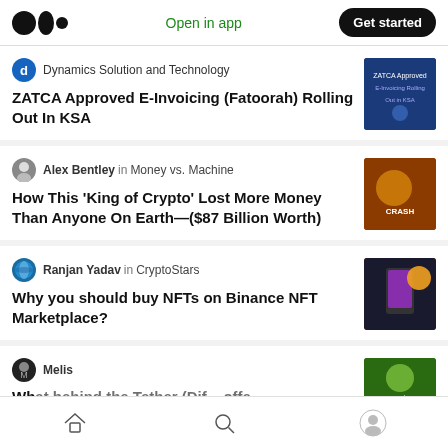Medium app header with logo, Open in app, Get started
Dynamics Solution and Technology
ZATCA Approved E-Invoicing (Fatoorah) Rolling Out In KSA
Alex Bentley in Money vs. Machine
How This 'King of Crypto' Lost More Money Than Anyone On Earth—($87 Billion Worth)
Ranjan Yadav in CryptoStars
Why you should buy NFTs on Binance NFT Marketplace?
Melis
Home, Search, Profile navigation